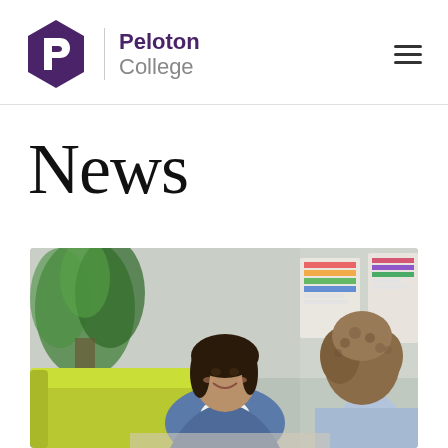Peloton College — navigation header with logo and hamburger menu
News
[Figure (photo): Two people in a casual office or school setting. A young woman with dark hair in a denim jacket sits on a yellow-green couch, smiling. Another person (back to camera, wearing a light blue top with curly hair) sits across from her. Background shows a plant and colorful wall charts.]